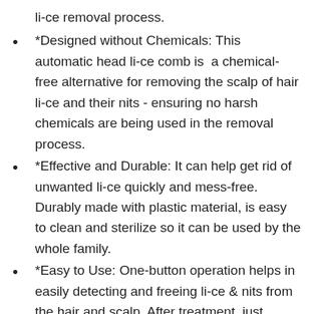li-ce removal process.
*Designed without Chemicals: This automatic head li-ce comb is a chemical-free alternative for removing the scalp of hair li-ce and their nits - ensuring no harsh chemicals are being used in the removal process.
*Effective and Durable: It can help get rid of unwanted li-ce quickly and mess-free. Durably made with plastic material, is easy to clean and sterilize so it can be used by the whole family.
*Easy to Use: One-button operation helps in easily detecting and freeing li-ce & nits from the hair and scalp. After treatment, just remove the transparent debris collection bin and clean it easily.
*Li-ce Free Guarantee : We offer a 12-month